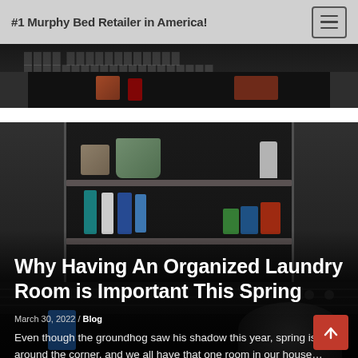#1 Murphy Bed Retailer in America!
[Figure (photo): Partial view of a dark-toned storage cabinet/shelving unit from a previous blog post, only the bottom portion visible]
[Figure (photo): Dark garage/laundry room storage cabinet with shelves containing a basket, watering can, spray bottles, cleaning products, and small boxes. Lower portion shows hints of a washing machine. Overlaid with blog post title and excerpt text.]
Why Having An Organized Laundry Room is Important This Spring
March 30, 2022 / Blog
Even though the groundhog saw his shadow this year, spring is just around the corner, and we all have that one room in our house… Read More »